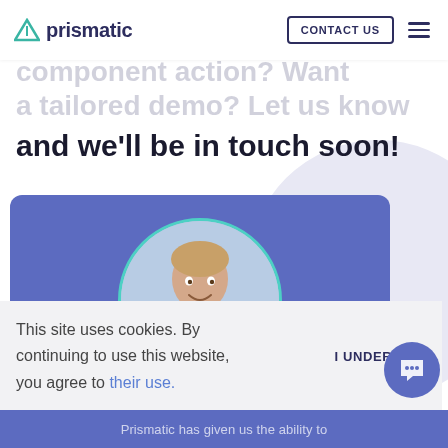Prismatic – CONTACT US
component action? Want a tailored demo? Let us know and we'll be in touch soon!
[Figure (photo): Blue card with a circular profile photo of a young man smiling, with teal border.]
This site uses cookies. By continuing to use this website, you agree to their use. I UNDERSTAND
Prismatic has given us the ability to